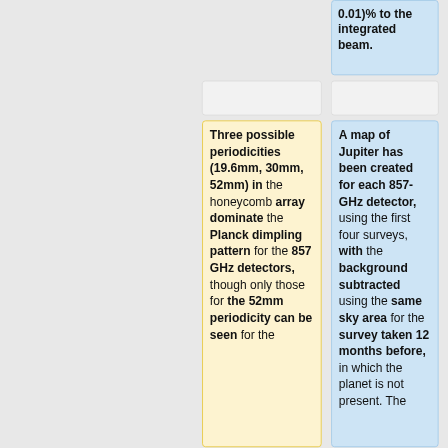0.01)% to the integrated beam.
Three possible periodicities (19.6mm, 30mm, 52mm) in the honeycomb array dominate the Planck dimpling pattern for the 857 GHz detectors, though only those for the 52mm periodicity can be seen for the
A map of Jupiter has been created for each 857-GHz detector, using the first four surveys, with the background subtracted using the same sky area for the survey taken 12 months before, in which the planet is not present. The